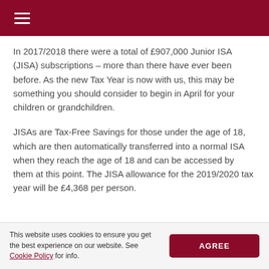≡
In 2017/2018 there were a total of £907,000 Junior ISA (JISA) subscriptions – more than there have ever been before. As the new Tax Year is now with us, this may be something you should consider to begin in April for your children or grandchildren.
JISAs are Tax-Free Savings for those under the age of 18, which are then automatically transferred into a normal ISA when they reach the age of 18 and can be accessed by them at this point. The JISA allowance for the 2019/2020 tax year will be £4,368 per person.
This website uses cookies to ensure you get the best experience on our website. See Cookie Policy for info.